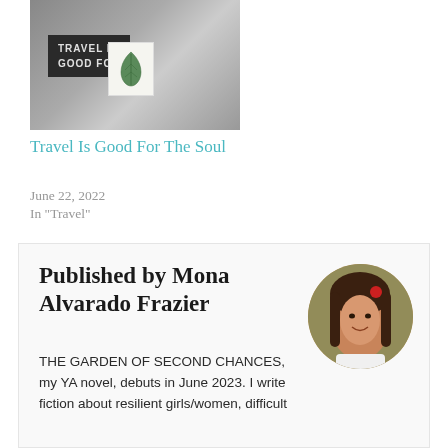[Figure (photo): Photo of a letter board sign reading 'TRAVEL IS GOOD FOR' with a small botanical card beside it]
Travel Is Good For The Soul
June 22, 2022
In "Travel"
Published by Mona Alvarado Frazier
[Figure (photo): Circular portrait photo of Mona Alvarado Frazier, a woman with long dark hair, smiling, wearing a white top, with greenery in background]
THE GARDEN OF SECOND CHANCES, my YA novel, debuts in June 2023. I write fiction about resilient girls/women, difficult